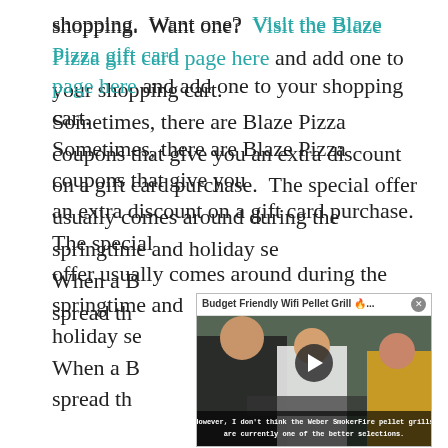shopping.  Want one?  Visit the Blaze Pizza gift card page here and add one to your shopping cart.  Sometimes, there are Blaze Pizza coupons that give you an extra discount on a gift card purchase.  The special offer usually comes around during the springtime and holiday se[ason]. When a B[laze Pizza coupon is available, it's great to] spread the[word!]
[Figure (screenshot): A video overlay popup titled 'Budget Friendly Wifi Pellet Grill 🔥...' with a close button (x). The thumbnail shows people at an outdoor grill. A play button is visible in the center. Subtitles read: 'However, I don't think the Weber SmokerFire pellet grills are currently one of the better selections.']
x